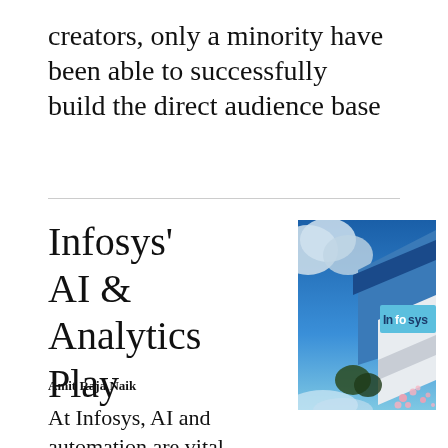creators, only a minority have been able to successfully build the direct audience base
Infosys' AI & Analytics Play
Amit Raja Naik
[Figure (photo): Infosys building signage with blue sky and cherry blossoms in the background]
At Infosys, AI and automation are vital